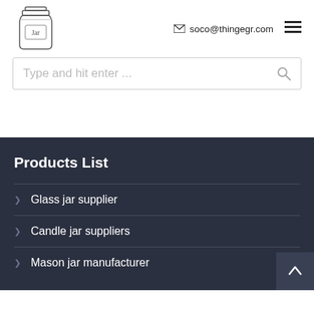[Figure (logo): Jar logo — sketch of a mason jar with the word 'Jar' inside]
✉ soco@thingegr.com
[Figure (illustration): Hamburger menu icon (three horizontal lines)]
Type and hit enter ...
Products List
Glass jar supplier
Candle jar suppliers
Mason jar manufacturer